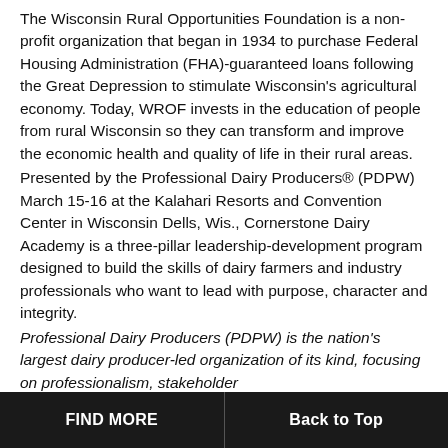The Wisconsin Rural Opportunities Foundation is a non-profit organization that began in 1934 to purchase Federal Housing Administration (FHA)-guaranteed loans following the Great Depression to stimulate Wisconsin's agricultural economy. Today, WROF invests in the education of people from rural Wisconsin so they can transform and improve the economic health and quality of life in their rural areas.
Presented by the Professional Dairy Producers® (PDPW) March 15-16 at the Kalahari Resorts and Convention Center in Wisconsin Dells, Wis., Cornerstone Dairy Academy is a three-pillar leadership-development program designed to build the skills of dairy farmers and industry professionals who want to lead with purpose, character and integrity.
Professional Dairy Producers (PDPW) is the nation's largest dairy producer-led organization of its kind, focusing on professionalism, stakeholder approach to shareducas,
FIND MORE | Back to Top